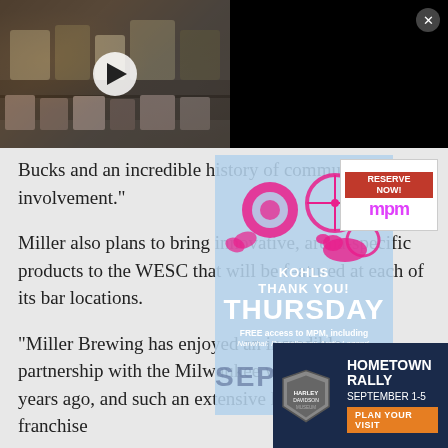[Figure (screenshot): Video thumbnail showing a deli/cheese display case with a play button overlay]
Eating options for National Dairy Month
Bucks and an incredible history of community involvement."
Miller also plans to bring innovative, arena-specific products to the WESC that will be featured at each of its bar locations.
"Miller Brewing has enjoyed an incredible partnership with the Milwaukee were founded 50 years ago, and such an extensive history with the franchise
[Figure (infographic): Blue overlay ad with pink icons (snail, bicycle, dinosaur), Kohl's Thank You Thursday text, FREE access to MPM including Narwhal: Revealing an Arctic Legend, thanks to Kohl's, SEPTEMBER 1]
[Figure (infographic): MPM Reserve Now button ad with pink/magenta logo]
[Figure (infographic): Harley-Davidson Museum Hometown Rally ad, September 1-5, Plan Your Visit button]